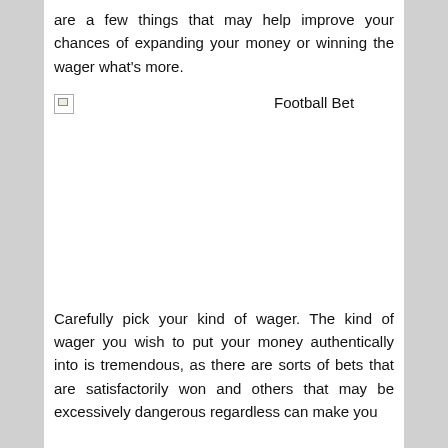are a few things that may help improve your chances of expanding your money or winning the wager what's more.
[Figure (photo): Football Bet image (broken/missing image placeholder with label 'Football Bet')]
Carefully pick your kind of wager. The kind of wager you wish to put your money authentically into is tremendous, as there are sorts of bets that are satisfactorily won and others that may be excessively dangerous regardless can make you